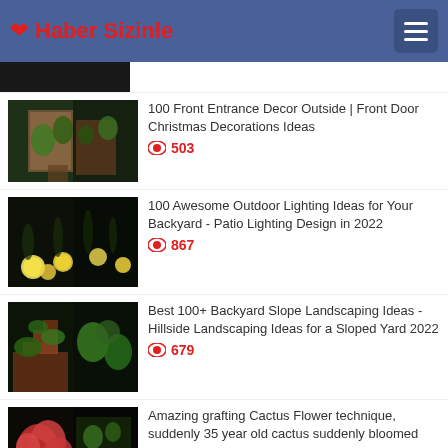❤ Haber Sizinle
[Figure (screenshot): Partial thumbnail of first article (cropped at top)]
[Figure (photo): Front entrance with decorative plants and Christmas decorations]
100 Front Entrance Decor Outside | Front Door Christmas Decorations Ideas
503 views
[Figure (photo): Outdoor garden lighting with glowing ball lights along pathway]
100 Awesome Outdoor Lighting Ideas for Your Backyard - Patio Lighting Design in 2022
867 views
[Figure (photo): Backyard slope landscaping with stone steps and garden beds]
Best 100+ Backyard Slope Landscaping Ideas - Hillside Landscaping Ideas for a Sloped Yard 2022
679 views
[Figure (photo): Cactus grafting technique with red flower bloom]
Amazing grafting Cactus Flower technique, suddenly 35 year old cactus suddenly bloomed
891 views
[Figure (photo): Duck-shaped flower pots from old plastic bottles and concrete]
Amazing DIY Duck-shaped Flower Pots from Old Plastic Bottles and Concrete